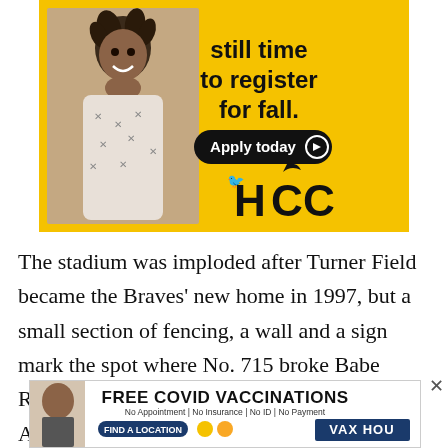[Figure (photo): Advertisement for HCC (Houston Community College) with a smiling young person in a patterned shirt on a yellow background. Text reads 'still time to register for fall. Apply today' with HCC logo.]
The stadium was imploded after Turner Field became the Braves’ new home in 1997, but a small section of fencing, a wall and a sign mark the spot where No. 715 broke Babe Ruth’s hallowed home run record in 1974. Aaron
[Figure (photo): Advertisement for Free Covid Vaccinations. Text: FREE COVID VACCINATIONS. No Appointment | No Insurance | No ID | No Payment. FIND A LOCATION. VAX HOU]